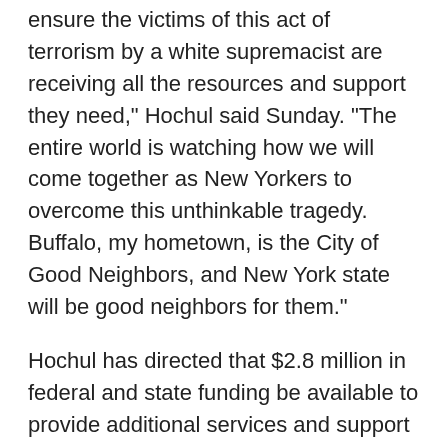ensure the victims of this act of terrorism by a white supremacist are receiving all the resources and support they need," Hochul said Sunday. "The entire world is watching how we will come together as New Yorkers to overcome this unthinkable tragedy. Buffalo, my hometown, is the City of Good Neighbors, and New York state will be good neighbors for them."
Hochul has directed that $2.8 million in federal and state funding be available to provide additional services and support to individuals and families affected by the shooting. The state Office of Victim Services (OVS) will administer the funding from the state Division of Criminal Justice Services, and the state's Community Violence Intervention Act, which annually designates a portion of the state's federal Victims of Crime Act funding for programs serving communities hardest hit by gun violence.
OVS staff will be in Buffalo this week to help victims and